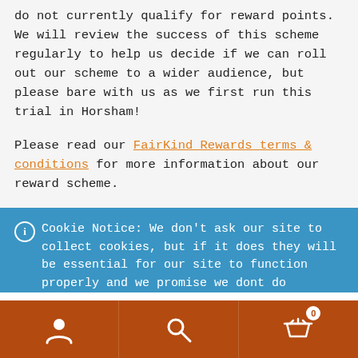do not currently qualify for reward points. We will review the success of this scheme regularly to help us decide if we can roll out our scheme to a wider audience, but please bare with us as we first run this trial in Horsham!
Please read our FairKind Rewards terms & conditions for more information about our reward scheme.
Cookie Notice: We don't ask our site to collect cookies, but if it does they will be essential for our site to function properly and we promise we dont do anything naughty with them! Dismiss
[Figure (other): Footer navigation bar with user icon, search icon, and basket icon with badge showing 0]